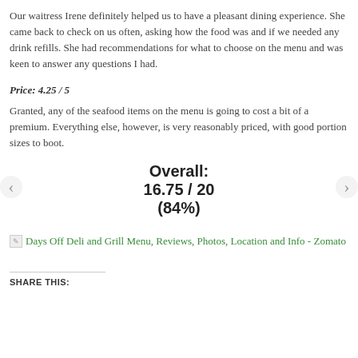Our waitress Irene definitely helped us to have a pleasant dining experience. She came back to check on us often, asking how the food was and if we needed any drink refills. She had recommendations for what to choose on the menu and was keen to answer any questions I had.
Price: 4.25 / 5
Granted, any of the seafood items on the menu is going to cost a bit of a premium. Everything else, however, is very reasonably priced, with good portion sizes to boot.
Overall: 16.75 / 20 (84%)
[Figure (screenshot): Broken image link for Days Off Deli and Grill Menu, Reviews, Photos, Location and Info - Zomato]
SHARE THIS: